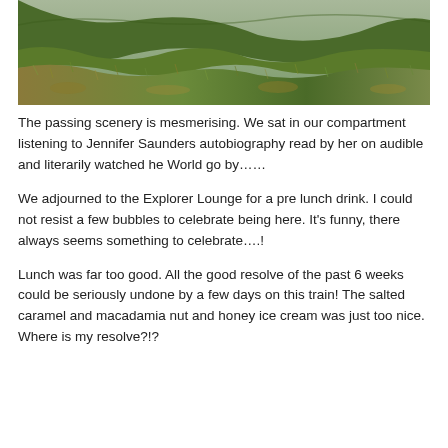[Figure (photo): Landscape photo showing green and brown moorland/hillside scenery, viewed from a moving train window. The terrain is hilly with grass and scrubby vegetation.]
The passing scenery is mesmerising. We sat in our compartment listening to Jennifer Saunders autobiography read by her on audible and literarily watched he World go by……
We adjourned to the Explorer Lounge for a pre lunch drink. I could not resist a few bubbles to celebrate being here. It's funny, there always seems something to celebrate….!
Lunch was far too good. All the good resolve of the past 6 weeks could be seriously undone by a few days on this train! The salted caramel and macadamia nut and honey ice cream was just too nice. Where is my resolve?!?